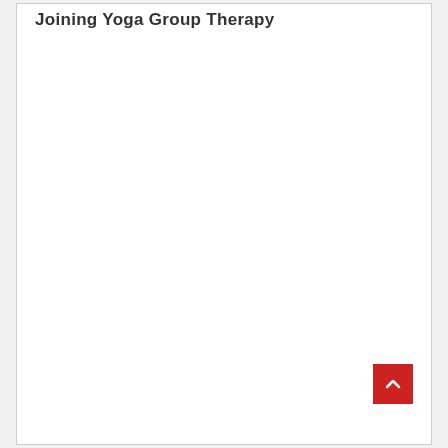Joining Yoga Group Therapy
[Figure (other): Scroll-to-top button: red square with white upward-pointing chevron arrow, positioned at bottom right of page]